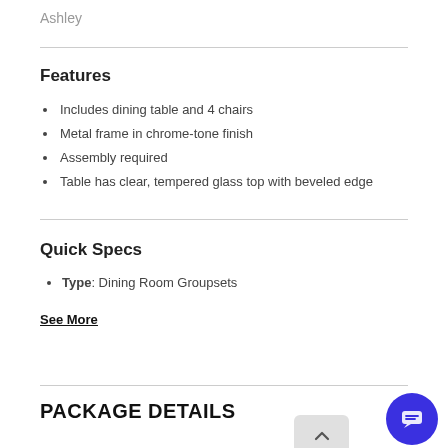Ashley
Features
Includes dining table and 4 chairs
Metal frame in chrome-tone finish
Assembly required
Table has clear, tempered glass top with beveled edge
Quick Specs
Type: Dining Room Groupsets
See More
PACKAGE DETAILS